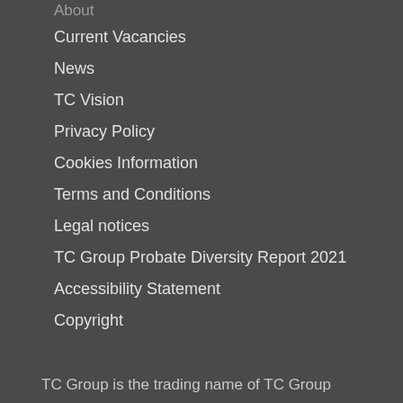About
Current Vacancies
News
TC Vision
Privacy Policy
Cookies Information
Terms and Conditions
Legal notices
TC Group Probate Diversity Report 2021
Accessibility Statement
Copyright
TC Group is the trading name of TC Group